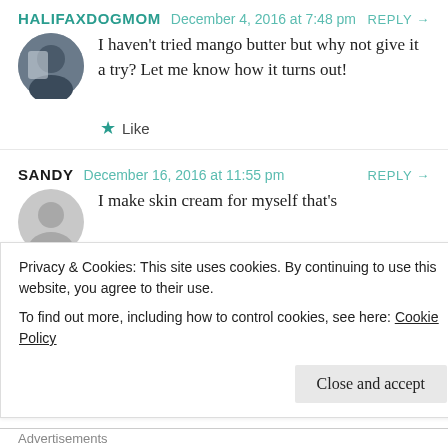HALIFAXDOGMOM  December 4, 2016 at 7:48 pm  REPLY →
I haven't tried mango butter but why not give it a try? Let me know how it turns out!
★ Like
SANDY  December 16, 2016 at 11:55 pm  REPLY →
I make skin cream for myself that's
Privacy & Cookies: This site uses cookies. By continuing to use this website, you agree to their use.
To find out more, including how to control cookies, see here: Cookie Policy
Close and accept
Advertisements